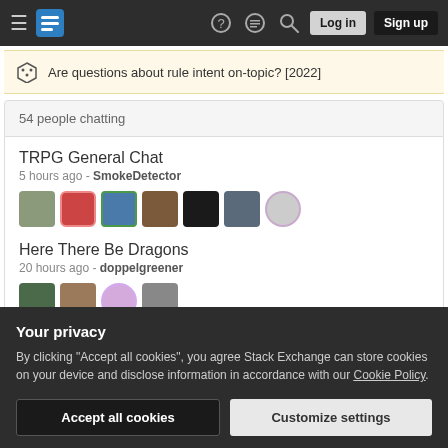Navigation bar with hamburger menu, Stack Exchange logo, help icon, chat icon, search icon, Log in button, Sign up button
Are questions about rule intent on-topic? [2022]
54 people chatting
TRPG General Chat
5 hours ago - SmokeDetector
Here There Be Dragons
20 hours ago - doppelgreener
Your privacy
By clicking "Accept all cookies", you agree Stack Exchange can store cookies on your device and disclose information in accordance with our Cookie Policy.
Accept all cookies
Customize settings